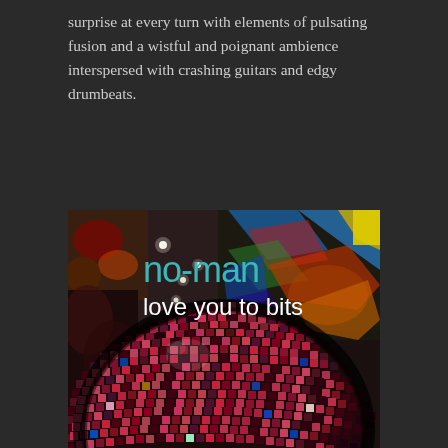surprise at every turn with elements of pulsating fusion and a wistful and poignant ambience interspersed with crashing guitars and edgy drumbeats.
[Figure (photo): Album cover for 'no-man – love you to bits'. Shows a large mirrored disco ball in the foreground inside a venue with colorful graffiti murals on the ceiling and walls. Text on the image reads 'no-man' in teal and 'love you to bits' in white.]